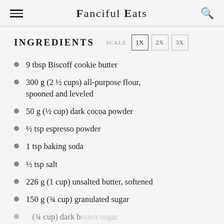Fanciful Eats
INGREDIENTS
9 tbsp Biscoff cookie butter
300 g (2 ½ cups) all-purpose flour, spooned and leveled
50 g (½ cup) dark cocoa powder
½ tsp espresso powder
1 tsp baking soda
½ tsp salt
226 g (1 cup) unsalted butter, softened
150 g (¾ cup) granulated sugar
(¾ cup) dark brown sugar (partial, cut off)